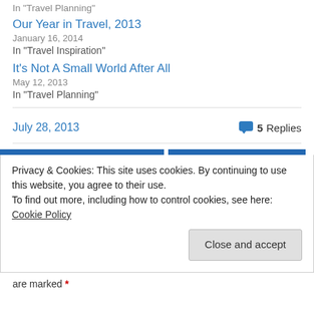In  "Travel Planning"
Our Year in Travel, 2013
January 16, 2014
In "Travel Inspiration"
It's Not A Small World After All
May 12, 2013
In "Travel Planning"
July 28, 2013   5 Replies
Privacy & Cookies: This site uses cookies. By continuing to use this website, you agree to their use. To find out more, including how to control cookies, see here: Cookie Policy
Close and accept
are marked *